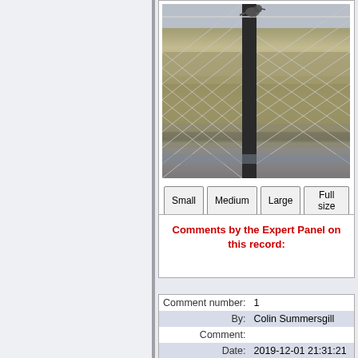[Figure (photo): A bird perched on top of a wire fence post with chain-link fencing and blurred natural background]
Small   Medium   Large   Full size
Comments by the Expert Panel on this record:
| Comment number: | 1 |
| By: | Colin Summersgill |
| Comment: |  |
| Date: | 2019-12-01 21:31:21 |
|  | Carinus albocularis |